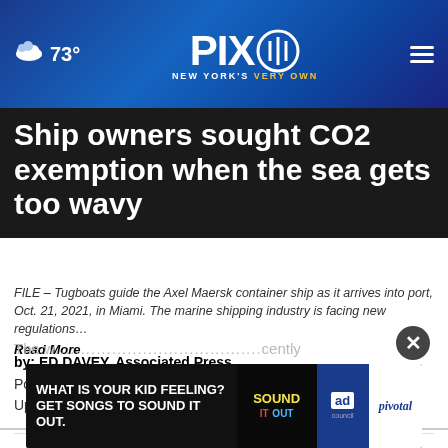73° PIX11 NEW YORK'S VERY OWN
Ship owners sought CO2 exemption when the sea gets too wavy
FILE – Tugboats guide the Axel Maersk container ship as it arrives into port, Oct. 21, 2021, in Miami. The marine shipping industry is facing new regulations… Read More
by: ED DAVEY, Associated Press
Posted: Jun 10, 2022 / 01:17 PM EDT
Updated: Jun 10, 2022 / 01:48 PM EDT
SHARE
The w...recently
[Figure (screenshot): Advertisement banner: WHAT IS YOUR KID FEELING? GET SONGS TO SOUND IT OUT. with SOUND IT OUT logo, ad council and pivotal branding]